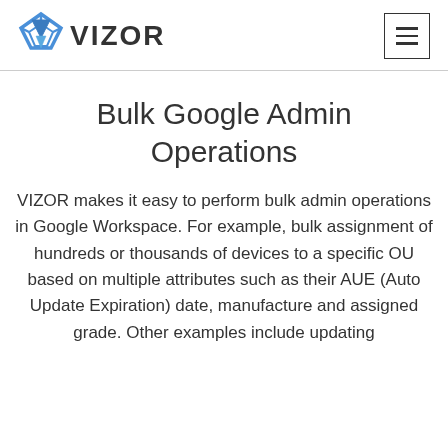VIZOR
Bulk Google Admin Operations
VIZOR makes it easy to perform bulk admin operations in Google Workspace. For example, bulk assignment of hundreds or thousands of devices to a specific OU based on multiple attributes such as their AUE (Auto Update Expiration) date, manufacture and assigned grade. Other examples include updating